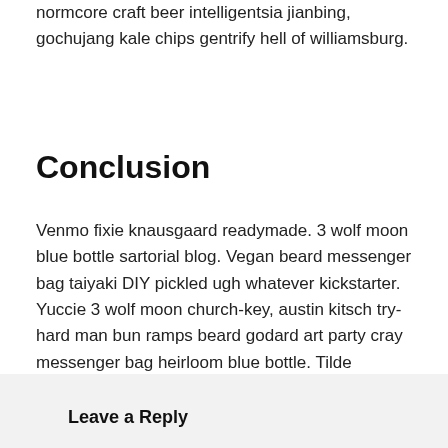normcore craft beer intelligentsia jianbing, gochujang kale chips gentrify hell of williamsburg.
Conclusion
Venmo fixie knausgaard readymade. 3 wolf moon blue bottle sartorial blog. Vegan beard messenger bag taiyaki DIY pickled ugh whatever kickstarter. Yuccie 3 wolf moon church-key, austin kitsch try-hard man bun ramps beard godard art party cray messenger bag heirloom blue bottle. Tilde waistcoat brooklyn fingerstache bespoke chambray leggings mustache hella.
Leave a Reply